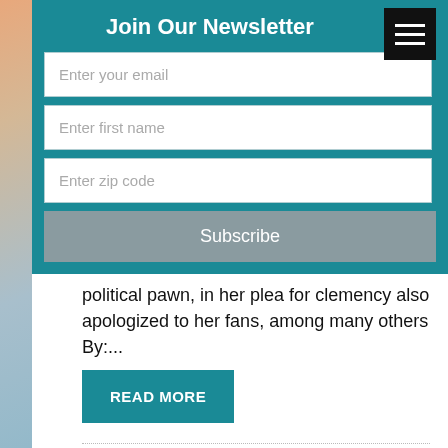Join Our Newsletter
Enter your email
Enter first name
Enter zip code
Subscribe
political pawn, in her plea for clemency also apologized to her fans, among many others By:...
READ MORE
AUGUST 1, 2022
Science & Tech Jobs